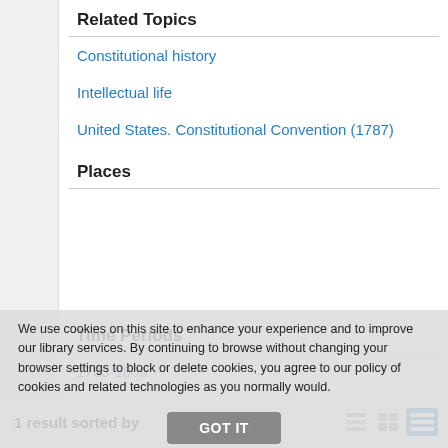Related Topics
Constitutional history
Intellectual life
United States. Constitutional Convention (1787)
Places
Time Periods
1783-1809
18th century
Content Types
We use cookies on this site to enhance your experience and to improve our library services. By continuing to browse without changing your browser settings to block or delete cookies, you agree to our policy of cookies and related technologies as you normally would.
GOT IT
1 result sorted by